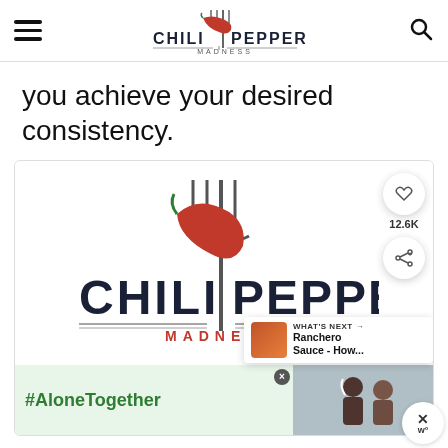Chili Pepper Madness
you achieve your desired consistency.
[Figure (logo): Chili Pepper Madness logo with fork and chili pepper, shown inside a card with save (heart) button showing 12.6K, share button, and a 'What's Next' panel showing 'Ranchero Sauce - How...']
[Figure (screenshot): Advertisement bar at bottom showing '#AloneTogether' text in green on light green background, with a photo of two people, a close button, and an X dismiss button]